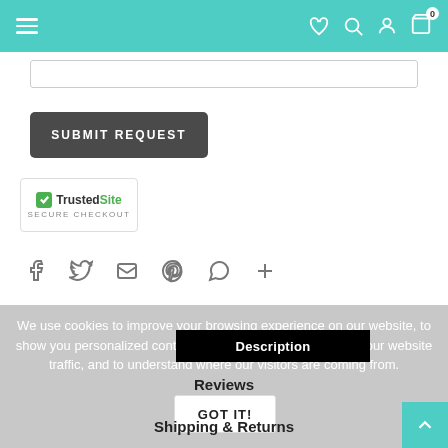Navigation header with hamburger menu, wishlist, search, account, and cart icons
[Figure (screenshot): Empty text input box for form submission]
[Figure (screenshot): Dark gray SUBMIT REQUEST button]
[Figure (logo): TrustedSite Secure Checkout badge with green checkmark]
[Figure (infographic): Social sharing icons: Facebook, Twitter, Email, Pinterest, WhatsApp, Plus]
We use cookies to improve your browsing experience on our website, to show you personalized content and targeted ads, to analyze our website traffic, and to understand where our visitors are coming from.
[Figure (screenshot): Black Description tab bar overlay]
Reviews
[Figure (screenshot): GOT IT! button for cookie consent]
Shipping & Returns
[Figure (screenshot): Teal back-to-top arrow button in bottom right corner]